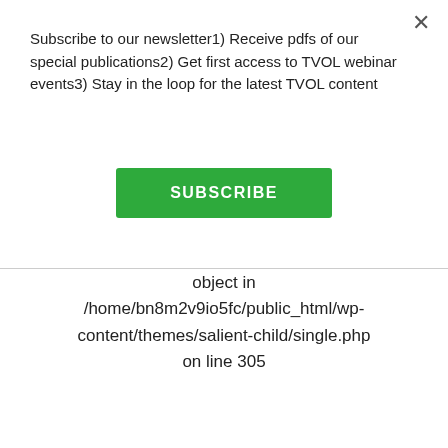Subscribe to our newsletter1) Receive pdfs of our special publications2) Get first access to TVOL webinar events3) Stay in the loop for the latest TVOL content
SUBSCRIBE
object in /home/bn8m2v9io5fc/public_html/wp-content/themes/salient-child/single.php on line 305
Notice: Trying to get property of non-object in /home/bn8m2v9io5fc/public_html/wp-content/themes/salient-child/single.php on line 306
Notice: Trying to get property of non-object in